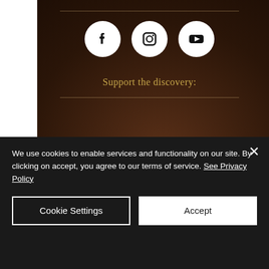[Figure (infographic): Social media icons: Facebook, Instagram, YouTube displayed as white circles on dark brown background]
Support the discovery:
We use cookies to enable services and functionality on our site. By clicking on accept, you agree to our terms of service. See Privacy Policy